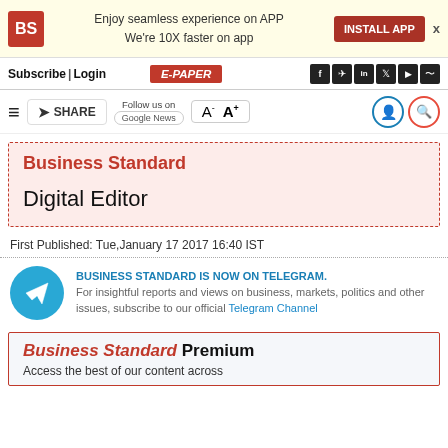Enjoy seamless experience on APP We're 10X faster on app | INSTALL APP
Subscribe | Login  E-PAPER
SHARE  Follow us on Google News  A- A+
Business Standard
Digital Editor
First Published: Tue,January 17 2017 16:40 IST
BUSINESS STANDARD IS NOW ON TELEGRAM. For insightful reports and views on business, markets, politics and other issues, subscribe to our official Telegram Channel
Business Standard Premium Access the best of our content across